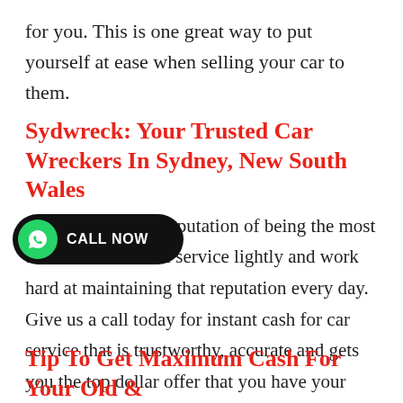for you. This is one great way to put yourself at ease when selling your car to them.
Sydwreck: Your Trusted Car Wreckers In Sydney, New South Wales
We don't take our reputation of being the most trusted car removal service lightly and work hard at maintaining that reputation every day. Give us a call today for instant cash for car service that is trustworthy, accurate and gets you the top dollar offer that you have your fingers crossed for.
[Figure (other): CALL NOW button with WhatsApp green phone icon on dark rounded pill background]
Tip To Get Maximum Cash For Your Old &